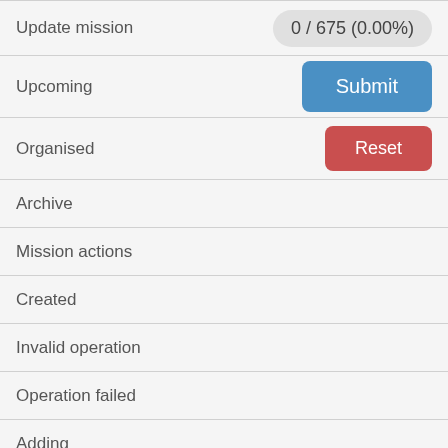| Update mission | 0 / 675 (0.00%) |
| Upcoming | Submit |
| Organised | Reset |
| Archive |  |
| Mission actions |  |
| Created |  |
| Invalid operation |  |
| Operation failed |  |
| Adding |  |
| to mission |  |